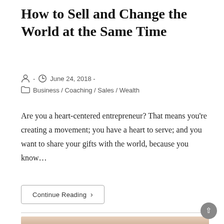How to Sell and Change the World at the Same Time
- June 24, 2018 - Business / Coaching / Sales / Wealth
Are you a heart-centered entrepreneur? That means you're creating a movement; you have a heart to serve; and you want to share your gifts with the world, because you know...
Continue Reading ›
[Figure (photo): Partial photo visible at bottom of page showing a person with auburn hair]